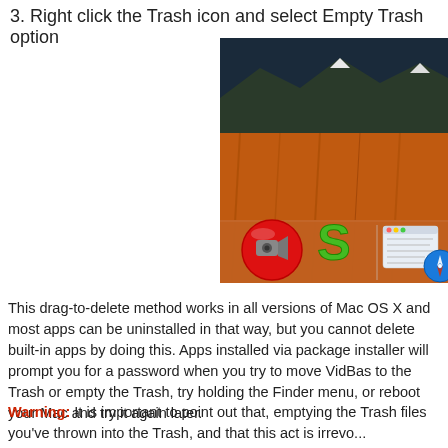3. Right click the Trash icon and select Empty Trash option
[Figure (screenshot): Mac OS X desktop screenshot showing the Dock with a red video camera app icon, a green S-shaped app icon, and a Finder/Safari icon visible. The background shows the Mac OS X El Capitan mountain wallpaper.]
This drag-to-delete method works in all versions of Mac OS X and most apps can be uninstalled in that way, but you cannot delete built-in apps by doing this. Apps installed via package installer will prompt you for a password when you try to move them. If you cannot move VidBas to the Trash or empty the Trash, try holding the Option key while using the Finder menu, or reboot your Mac and try it again later.
Warning: It is important to point out that, emptying the Trash will permanently delete all files you've thrown into the Trash, and that this act is irrevo...